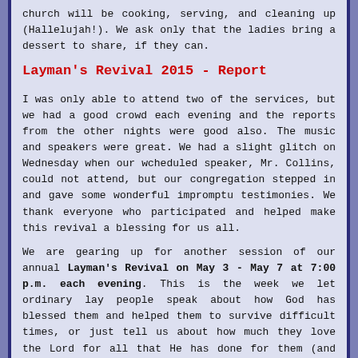church will be cooking, serving, and cleaning up (Hallelujah!). We ask only that the ladies bring a dessert to share, if they can.
Layman's Revival 2015 - Report
I was only able to attend two of the services, but we had a good crowd each evening and the reports from the other nights were good also. The music and speakers were great. We had a slight glitch on Wednesday when our wcheduled speaker, Mr. Collins, could not attend, but our congregation stepped in and gave some wonderful impromptu testimonies. We thank everyone who participated and helped make this revival a blessing for us all.
We are gearing up for another session of our annual Layman's Revival on May 3 - May 7 at 7:00 p.m. each evening. This is the week we let ordinary lay people speak about how God has blessed them and helped them to survive difficult times, or just tell us about how much they love the Lord for all that He has done for them (and all of us). There will be special musical